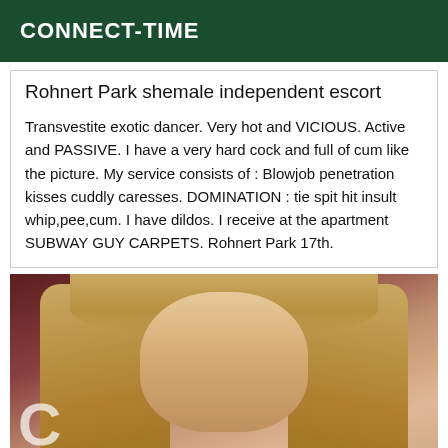CONNECT-TIME
Rohnert Park shemale independent escort
Transvestite exotic dancer. Very hot and VICIOUS. Active and PASSIVE. I have a very hard cock and full of cum like the picture. My service consists of : Blowjob penetration kisses cuddly caresses. DOMINATION : tie spit hit insult whip,pee,cum. I have dildos. I receive at the apartment SUBWAY GUY CARPETS. Rohnert Park 17th.
[Figure (photo): Portrait photo of a woman with long blonde hair, hoop earrings, heavy eye makeup, and prominent lips, partially bare shoulders, against a dark red background.]